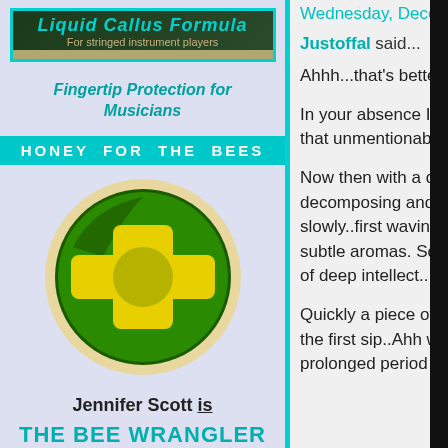[Figure (logo): Liquid Callus Formula advertisement box with teal border. Top dark green banner with teal italic bold title 'Liquid Callus Formula' and subtitle 'For stringed instrument players'. Tan/gold image area below.]
Fingertip Protection for Musicians
HONEY FOR THE BEES
[Figure (logo): Green circle logo with yellow plus/cross symbol on dark green background with cream border ring]
Jennifer Scott is
THE BEE WRANGLER
Wednesday, Dece...
Justoffal said...
Ahhh...that's better.
In your absence I have... that unmentionable ge...
Now then with a quick... decomposing and com... slowly..first waving it u... subtle aromas. Some... of deep intellect...ah y...
Quickly a piece of unle... the first sip..Ahh wond... prolonged period of ab...